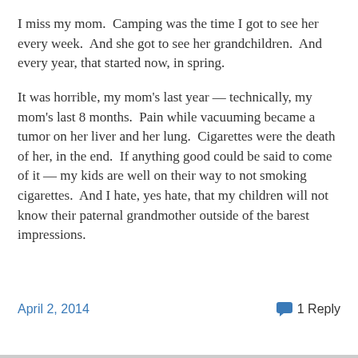I miss my mom.  Camping was the time I got to see her every week.  And she got to see her grandchildren.  And every year, that started now, in spring.
It was horrible, my mom's last year — technically, my mom's last 8 months.  Pain while vacuuming became a tumor on her liver and her lung.  Cigarettes were the death of her, in the end.  If anything good could be said to come of it — my kids are well on their way to not smoking cigarettes.  And I hate, yes hate, that my children will not know their paternal grandmother outside of the barest impressions.
April 2, 2014    1 Reply